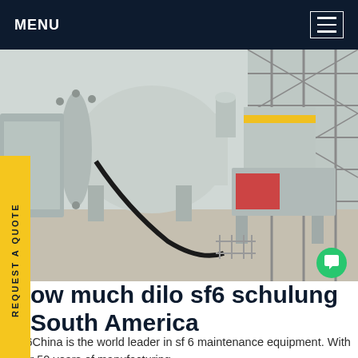MENU
[Figure (photo): Industrial SF6 gas insulated electrical switchgear equipment installed outdoors at a substation, showing large cylindrical gray metal enclosures with flanges and cables, with a lattice tower structure in the background.]
ow much dilo sf6 schulung South America
SF6China is the world leader in sf 6 maintenance equipment. With over 50 years of manufacturing